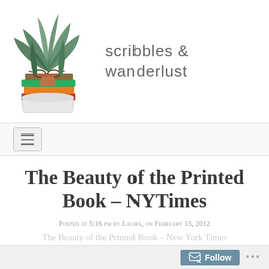[Figure (illustration): Watercolor illustration of potted houseplants with books and glasses stacked below]
scribbles & wanderlust
[Figure (other): Hamburger menu navigation button]
The Beauty of the Printed Book – NYTimes
Posted at 5:16 pm by Laura, on February 15, 2012
The Beauty of the Printed Book – New York Times...